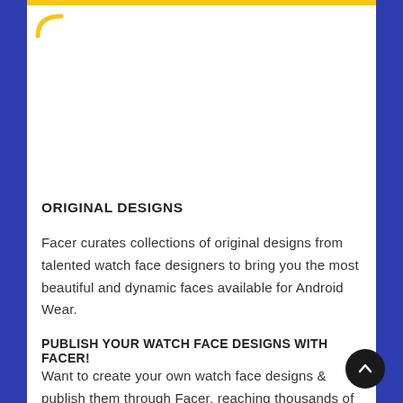[Figure (logo): Yellow arc/curve logo mark in top-left corner of white content area]
ORIGINAL DESIGNS
Facer curates collections of original designs from talented watch face designers to bring you the most beautiful and dynamic faces available for Android Wear.
PUBLISH YOUR WATCH FACE DESIGNS WITH FACER!
Want to create your own watch face designs & publish them through Facer, reaching thousands of smartwatch users? If so, we're looking for